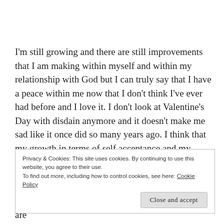I'm still growing and there are still improvements that I am making within myself and within my relationship with God but I can truly say that I have a peace within me now that I don't think I've ever had before and I love it. I don't look at Valentine's Day with disdain anymore and it doesn't make me sad like it once did so many years ago. I think that my growth in terms of self acceptance and my spiritual growth has spilled over into my writing career and the journey of fulfilling my
Privacy & Cookies: This site uses cookies. By continuing to use this website, you agree to their use.
To find out more, including how to control cookies, see here: Cookie Policy
it shouldn't. I hope that I'm always growing, that we are